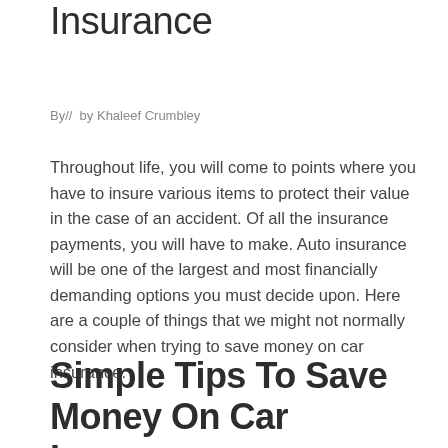Insurance
By//  by Khaleef Crumbley
Throughout life, you will come to points where you have to insure various items to protect their value in the case of an accident. Of all the insurance payments, you will have to make. Auto insurance will be one of the largest and most financially demanding options you must decide upon. Here are a couple of things that we might not normally consider when trying to save money on car insurance.
Simple Tips To Save Money On Car Insurance